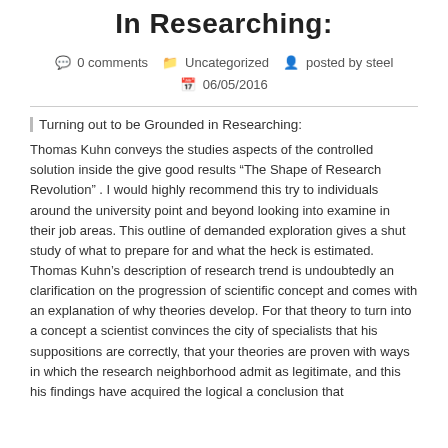In Researching:
0 comments   Uncategorized   posted by steel   06/05/2016
Turning out to be Grounded in Researching:
Thomas Kuhn conveys the studies aspects of the controlled solution inside the give good results “The Shape of Research Revolution” . I would highly recommend this try to individuals around the university point and beyond looking into examine in their job areas. This outline of demanded exploration gives a shut study of what to prepare for and what the heck is estimated. Thomas Kuhn’s description of research trend is undoubtedly an clarification on the progression of scientific concept and comes with an explanation of why theories develop. For that theory to turn into a concept a scientist convinces the city of specialists that his suppositions are correctly, that your theories are proven with ways in which the research neighborhood admit as legitimate, and this his findings have acquired the logical a conclusion that